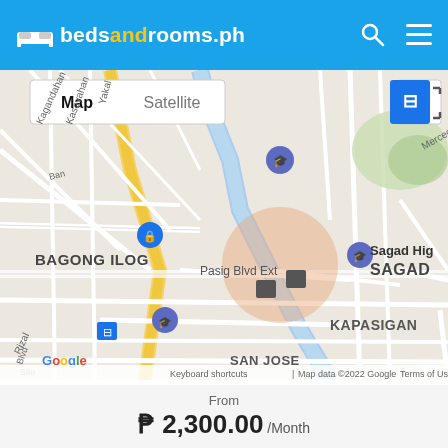bedsandrooms.ph
[Figure (map): Google Map showing Pasig City area in the Philippines, centered on Sagad/Kapasigan neighborhood. Features Map/Satellite toggle, zoom controls, street view pegman, and an orange circular highlight over Sagad. Visible landmarks: Pasig City Police Headquarters, Rizal High School, Sagad High School, areas labeled BAGONG ILOG, SAGAD, KAPASIGAN, SANTA CRUZ, SANTO T, SAN JOSE. Bus stop markers and location pins visible. Google logo and copyright notice at bottom.]
From
₱ 2,300.00 /Month